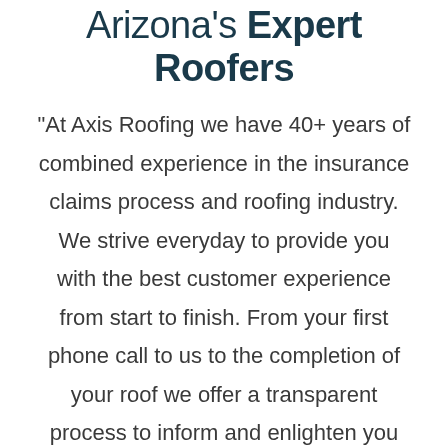Arizona's Expert Roofers
“At Axis Roofing we have 40+ years of combined experience in the insurance claims process and roofing industry. We strive everyday to provide you with the best customer experience from start to finish. From your first phone call to us to the completion of your roof we offer a transparent process to inform and enlighten you on what is available to